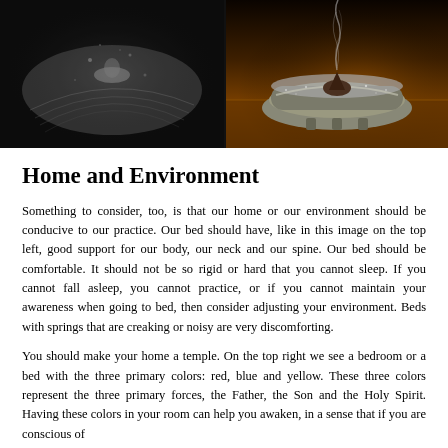[Figure (photo): Two side-by-side photos: left shows a person lying on an open book in a dreamy black-and-white scene; right shows an ornate incense burner with smoke rising on a warm wooden surface.]
Home and Environment
Something to consider, too, is that our home or our environment should be conducive to our practice. Our bed should have, like in this image on the top left, good support for our body, our neck and our spine. Our bed should be comfortable. It should not be so rigid or hard that you cannot sleep. If you cannot fall asleep, you cannot practice, or if you cannot maintain your awareness when going to bed, then consider adjusting your environment. Beds with springs that are creaking or noisy are very discomforting.
You should make your home a temple. On the top right we see a bedroom or a bed with the three primary colors: red, blue and yellow. These three colors represent the three primary forces, the Father, the Son and the Holy Spirit. Having these colors in your room can help you awaken, in a sense that if you are conscious of